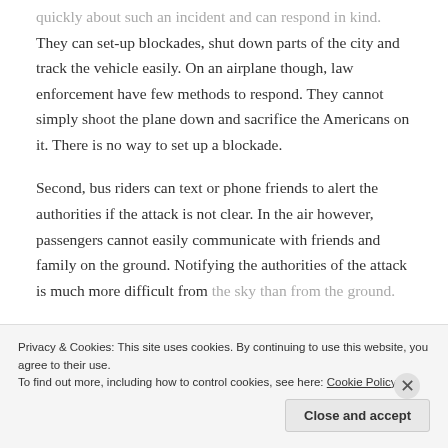They can set-up blockades, shut down parts of the city and track the vehicle easily. On an airplane though, law enforcement have few methods to respond. They cannot simply shoot the plane down and sacrifice the Americans on it. There is no way to set up a blockade.
Second, bus riders can text or phone friends to alert the authorities if the attack is not clear. In the air however, passengers cannot easily communicate with friends and family on the ground. Notifying the authorities of the attack is much more difficult from the sky than from the ground.
Privacy & Cookies: This site uses cookies. By continuing to use this website, you agree to their use. To find out more, including how to control cookies, see here: Cookie Policy
Close and accept